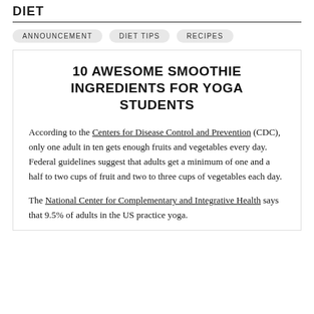DIET
ANNOUNCEMENT
DIET TIPS
RECIPES
10 AWESOME SMOOTHIE INGREDIENTS FOR YOGA STUDENTS
According to the Centers for Disease Control and Prevention (CDC), only one adult in ten gets enough fruits and vegetables every day. Federal guidelines suggest that adults get a minimum of one and a half to two cups of fruit and two to three cups of vegetables each day.
The National Center for Complementary and Integrative Health says that 9.5% of adults in the US practice yoga.